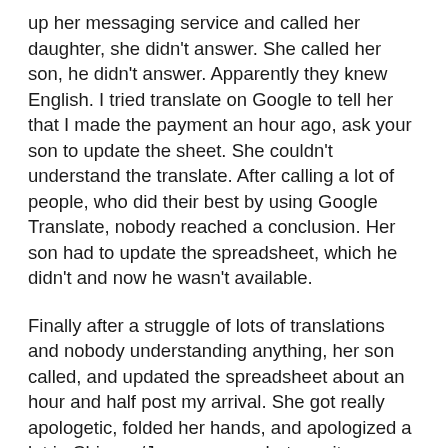up her messaging service and called her daughter, she didn't answer. She called her son, he didn't answer. Apparently they knew English. I tried translate on Google to tell her that I made the payment an hour ago, ask your son to update the sheet. She couldn't understand the translate. After calling a lot of people, who did their best by using Google Translate, nobody reached a conclusion. Her son had to update the spreadsheet, which he didn't and now he wasn't available.
Finally after a struggle of lots of translations and nobody understanding anything, her son called, and updated the spreadsheet about an hour and half post my arrival. She got really apologetic, folded her hands, and apologized a lot in Chinese/Japanese or whatever it was. She gave me keys to my room and showed me around to make me comfortable.
I was bored in the evening. I thought I'd sit with her for a while in the living room. She was watching some Japanese TV channel who were broadcasting how shrines are made. She noticed my anklet and asked me about it. I translated silver in Japanese and she understood. Then we started